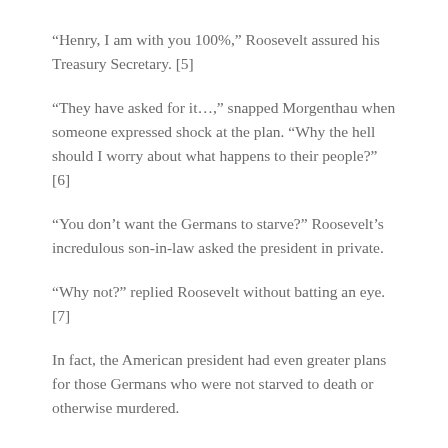“Henry, I am with you 100%,” Roosevelt assured his Treasury Secretary. [5]
“They have asked for it…,” snapped Morgenthau when someone expressed shock at the plan. “Why the hell should I worry about what happens to their people?” [6]
“You don’t want the Germans to starve?” Roosevelt’s incredulous son-in-law asked the president in private.
“Why not?” replied Roosevelt without batting an eye. [7]
In fact, the American president had even greater plans for those Germans who were not starved to death or otherwise murdered.